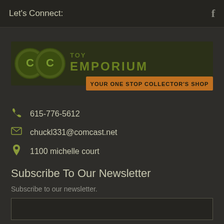Let's Connect:
[Figure (logo): CC Toy Emporium logo with text 'YOUR ONE STOP COLLECTOR'S SHOP']
615-776-5612
chuckl331@comcast.net
1100 michelle court
Subscribe To Our Newsletter
Subscribe to our newsletter.